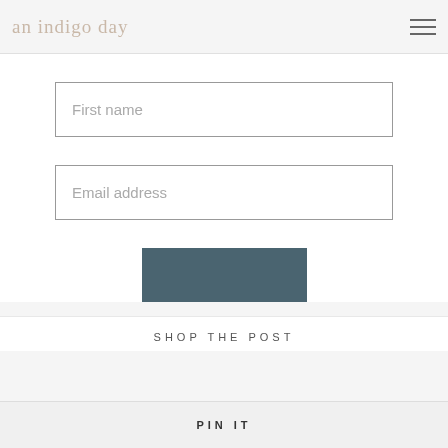an indigo day
First name
Email address
[Figure (screenshot): A teal/dark colored button partially visible, overlaid by a video ad player with black background showing 'Loading ad' text, a spinner, and media controls (pause, fullscreen, mute)]
SHOP THE POST
PIN IT